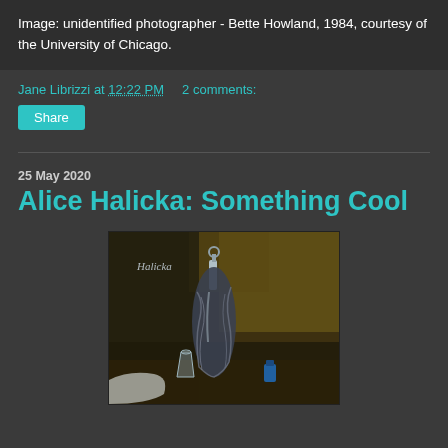Image: unidentified photographer - Bette Howland, 1984, courtesy of the University of Chicago.
Jane Librizzi at 12:22 PM   2 comments:
Share
25 May 2020
Alice Halicka: Something Cool
[Figure (illustration): A dark still-life painting by Alice Halicka showing a bottle wrapped in cloth with a glass and other objects, signed 'Halicka' in white cursive text in the upper left.]